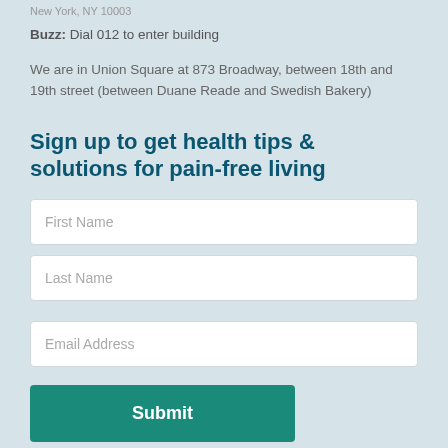New York, NY 10003
Buzz: Dial 012 to enter building
We are in Union Square at 873 Broadway, between 18th and 19th street (between Duane Reade and Swedish Bakery)
Sign up to get health tips & solutions for pain-free living
First Name
Last Name
Email Address
Submit